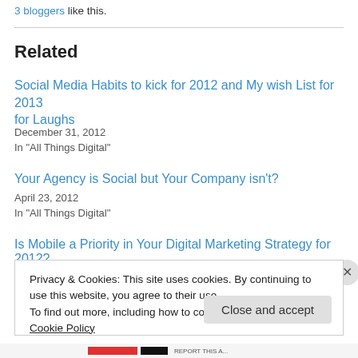3 bloggers like this.
Related
Social Media Habits to kick for 2012 and My wish List for 2013 for Laughs
December 31, 2012
In "All Things Digital"
Your Agency is Social but Your Company isn't?
April 23, 2012
In "All Things Digital"
Is Mobile a Priority in Your Digital Marketing Strategy for 2012?
Privacy & Cookies: This site uses cookies. By continuing to use this website, you agree to their use.
To find out more, including how to control cookies, see here: Cookie Policy